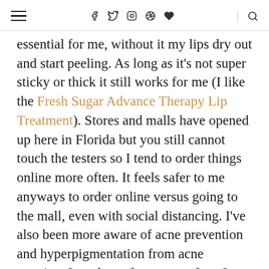[hamburger menu] [f] [twitter] [instagram] [pinterest] [heart] [search]
essential for me, without it my lips dry out and start peeling. As long as it's not super sticky or thick it still works for me (I like the Fresh Sugar Advance Therapy Lip Treatment). Stores and malls have opened up here in Florida but you still cannot touch the testers so I tend to order things online more often. It feels safer to me anyways to order online versus going to the mall, even with social distancing. I've also been more aware of acne prevention and hyperpigmentation from acne scarring. I wash my face more often. I have to be super careful of acne where the mask covers my face. I feel like I've been using spot treatments more often than I have in the past!